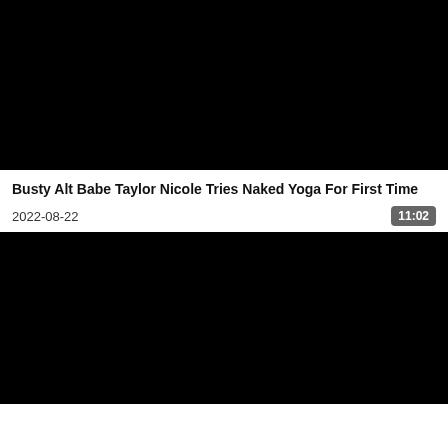[Figure (screenshot): Black video thumbnail placeholder (top)]
Busty Alt Babe Taylor Nicole Tries Naked Yoga For First Time
2022-08-22
11:02
[Figure (screenshot): Black video thumbnail placeholder (bottom)]